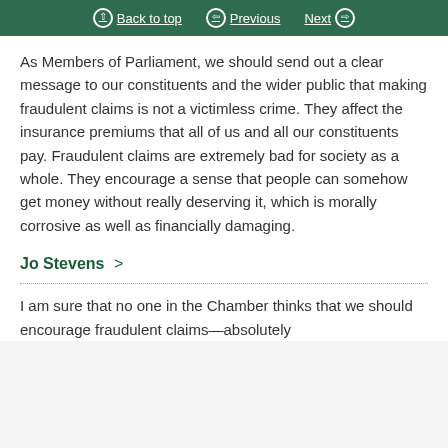Back to top | Previous | Next
As Members of Parliament, we should send out a clear message to our constituents and the wider public that making fraudulent claims is not a victimless crime. They affect the insurance premiums that all of us and all our constituents pay. Fraudulent claims are extremely bad for society as a whole. They encourage a sense that people can somehow get money without really deserving it, which is morally corrosive as well as financially damaging.
Jo Stevens
I am sure that no one in the Chamber thinks that we should encourage fraudulent claims—absolutely